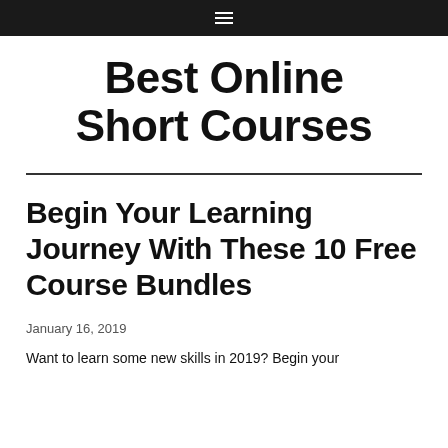☰
Best Online Short Courses
Begin Your Learning Journey With These 10 Free Course Bundles
January 16, 2019
Want to learn some new skills in 2019? Begin your